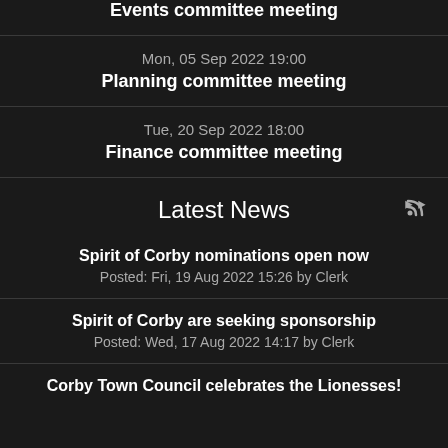Events committee meeting
Mon, 05 Sep 2022 19:00
Planning committee meeting
Tue, 20 Sep 2022 18:00
Finance committee meeting
Latest News
Spirit of Corby nominations open now
Posted: Fri, 19 Aug 2022 15:26 by Clerk
Spirit of Corby are seeking sponsorship
Posted: Wed, 17 Aug 2022 14:17 by Clerk
Corby Town Council celebrates the Lionesses!